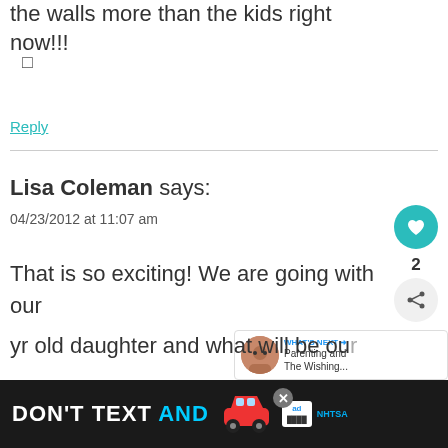the walls more than the kids right now!!!
□
Reply
Lisa Coleman says:
04/23/2012 at 11:07 am
That is so exciting! We are going with our … yr old daughter and what will be our … old daughter this October and I can't wait to tell everyone…
[Figure (infographic): DON'T TEXT AND [car emoji] advertisement banner with ad badge and NHTSA logo]